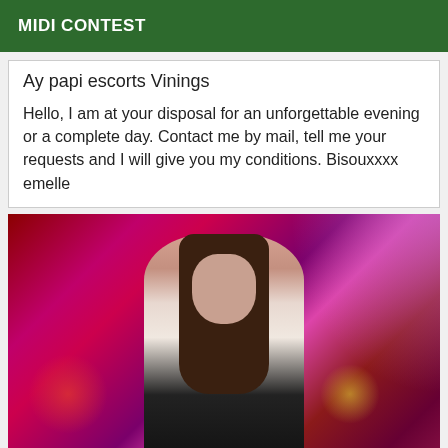MIDI CONTEST
Ay papi escorts Vinings
Hello, I am at your disposal for an unforgettable evening or a complete day. Contact me by mail, tell me your requests and I will give you my conditions. Bisouxxxx emelle
[Figure (photo): Young woman with long dark brown hair wearing a white short-sleeve top, standing in a nightclub with pink and red lighting in the background]